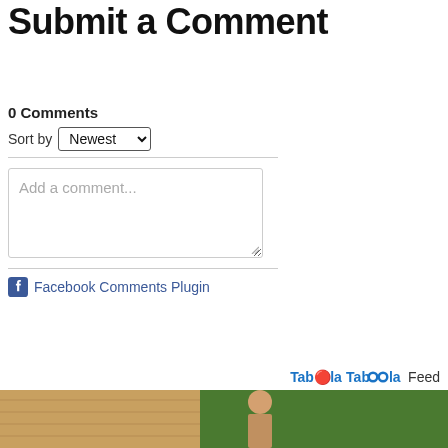Submit a Comment
0 Comments
Sort by Newest
[Figure (screenshot): Text input box with placeholder text 'Add a comment...' and resize handle]
Facebook Comments Plugin
Taboola Feed
[Figure (photo): Partial photo at bottom of page showing a person outdoors near a building]